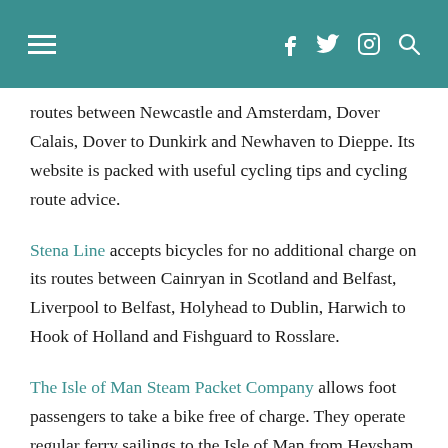≡  f  🐦  📷  🔍
routes between Newcastle and Amsterdam, Dover Calais, Dover to Dunkirk and Newhaven to Dieppe. Its website is packed with useful cycling tips and cycling route advice.
Stena Line accepts bicycles for no additional charge on its routes between Cainryan in Scotland and Belfast, Liverpool to Belfast, Holyhead to Dublin, Harwich to Hook of Holland and Fishguard to Rosslare.
The Isle of Man Steam Packet Company allows foot passengers to take a bike free of charge. They operate regular ferry sailings to the Isle of Man from Heysham and Liverpool (Birkenhead during winter) and seasonal sailings from Belfast and